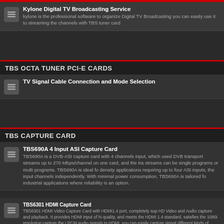Kylone Digital TV Broadcasting Service — kylone is the professional software to organize Digital TV Broadcasting you can easily use it to streaming the channels with TBS tuner card
TBS OCTA TUNER PCI-E CARDS
TV Signal Cable Connection and Mode Selection
TBS CAPTURE CARD
TBS690A 4 Input ASI Capture Card — TBS690A is a DVB-ASI capture card with 4 channels input, which used DVB transport streams up to 270 Mbps/channel on one card, and the streams can be single programs or multi programs. TBS690A is ideal for density applications requiring up to four ASI inputs, the input channels independently. With minimal power consumption, TBS690A is tailored for industrial applications where reliability is an option.
TBS6301 HDMI Capture Card — TBS6301 HDMI Video Capture Card with HDMI1.4 port, completely supports HD Video and Audio capture and playback. It provides HDMI input of high quality, and meets the HDMI 1.4 standard, satisfies the 1080i resolution capture the LPCM audio signals in HDMI, you can easily capture signals of different kinds of devices by TBS6301 HDMI Capture Card without limitations, TBS6301 windows driver is BDA architecture compatible with DVBDream,DVBView,... ,Linux driver is V4l architecture compatible with dvblast,tvheadend,astra..
TBS6304 Quad HD HDMI capture card — TBS6304 HD HDMI Capture Card comes with HDMI1.4 port, completely supports full HD Video and Audio capture and playback. It provides 4 HDMI inputs